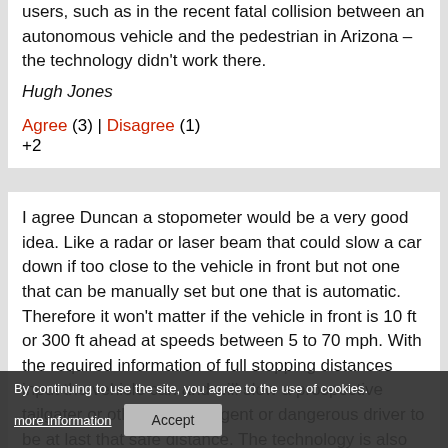users, such as in the recent fatal collision between an autonomous vehicle and the pedestrian in Arizona – the technology didn't work there.
Hugh Jones
Agree (3) | Disagree (1)
+2
I agree Duncan a stopometer would be a very good idea. Like a radar or laser beam that could slow a car down if too close to the vehicle in front but not one that can be manually set but one that is automatic. Therefore it won't matter if the vehicle in front is 10 ft or 300 ft ahead at speeds between 5 to 70 mph. With the required information of full stopping distances input the vehicle can and will slow a prospective tailgater or otherwise negligent or dangerous driver to be at last that safe distance. The technology is also available to detect hills and bends in the road where the car goes over the speed control and automatically slows the vehicle down rather than run into the bend too fast and lose control.
By continuing to use the site, you agree to the use of cookies.
more information
Accept